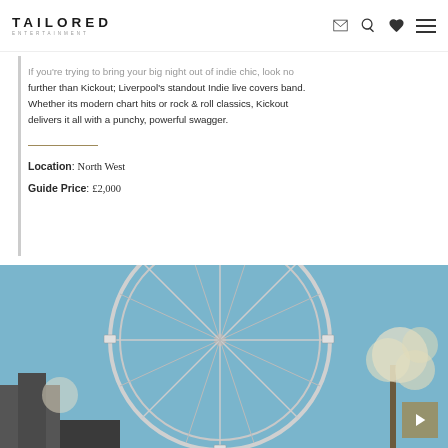TAILORED ENTERTAINMENT
If you're trying to bring your big night out of indie chic, look no further than Kickout; Liverpool's standout Indie live covers band. Whether its modern chart hits or rock & roll classics, Kickout delivers it all with a punchy, powerful swagger.
Location: North West
Guide Price: £2,000
[Figure (photo): Photo of a large Ferris wheel (London Eye) against a blue sky, with a play button overlay in the bottom-right corner.]